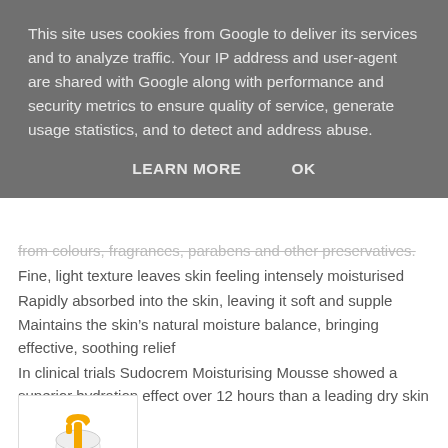This site uses cookies from Google to deliver its services and to analyze traffic. Your IP address and user-agent are shared with Google along with performance and security metrics to ensure quality of service, generate usage statistics, and to detect and address abuse.
LEARN MORE    OK
from colours, fragrances, parabens and other preservatives.
Fine, light texture leaves skin feeling intensely moisturised
Rapidly absorbed into the skin, leaving it soft and supple
Maintains the skin's natural moisture balance, bringing effective, soothing relief
In clinical trials Sudocrem Moisturising Mousse showed a superior hydration effect over 12 hours than a leading dry skin cream competitor
[Figure (photo): Sudocrem Moisturising Mousse product image — a pump bottle with orange/yellow pump and white cap]